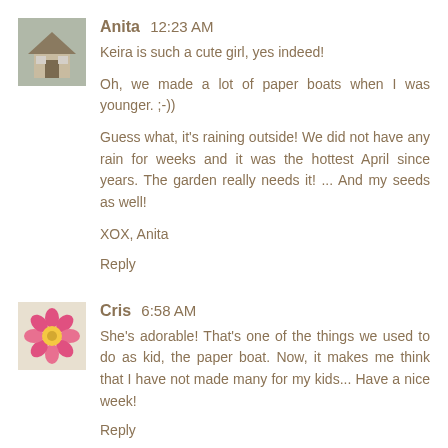[Figure (photo): Avatar photo of a house with greenery]
Anita 12:23 AM
Keira is such a cute girl, yes indeed!

Oh, we made a lot of paper boats when I was younger. ;-))

Guess what, it's raining outside! We did not have any rain for weeks and it was the hottest April since years. The garden really needs it! ... And my seeds as well!

XOX, Anita
Reply
[Figure (photo): Avatar photo of a pink flower]
Cris 6:58 AM
She's adorable! That's one of the things we used to do as kid, the paper boat. Now, it makes me think that I have not made many for my kids... Have a nice week!
Reply